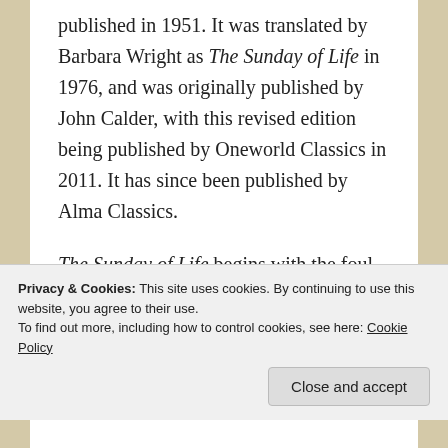published in 1951. It was translated by Barbara Wright as The Sunday of Life in 1976, and was originally published by John Calder, with this revised edition being published by Oneworld Classics in 2011. It has since been published by Alma Classics.

The Sunday of Life begins with the foul-mouthed shopowner, Julia Segovia, chatting to her sister whilst watching the twenty-something private, Valentin Brû,
Privacy & Cookies: This site uses cookies. By continuing to use this website, you agree to their use.
To find out more, including how to control cookies, see here: Cookie Policy